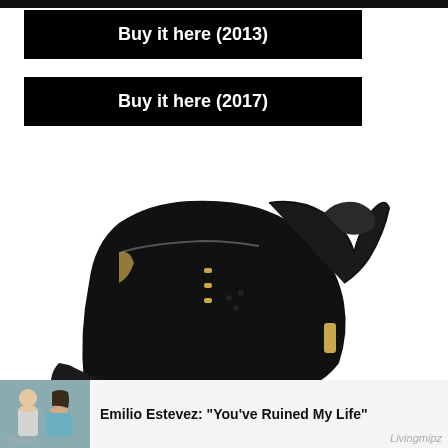Buy it here (2013)
Buy it here (2017)
[Figure (photo): Black and gold Air Jordan 6 sneaker (DMP colorway) on white background, side view showing black suede upper with gold/metallic accents and white/translucent sole]
[Figure (photo): Small thumbnail photo of two people (man and woman) posing together]
Emilio Estevez: "You've Ruined My Life"
Image
Livingmipz